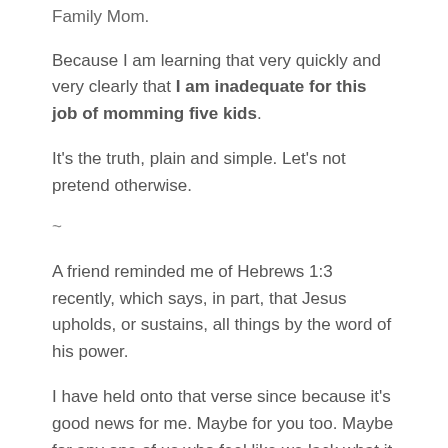Family Mom.
Because I am learning that very quickly and very clearly that I am inadequate for this job of momming five kids.
It's the truth, plain and simple. Let's not pretend otherwise.
~
A friend reminded me of Hebrews 1:3 recently, which says, in part, that Jesus upholds, or sustains, all things by the word of his power.
I have held onto that verse since because it's good news for me. Maybe for you too. Maybe for any one of us who feel like we lack what it takes to do the assignment we've been given.